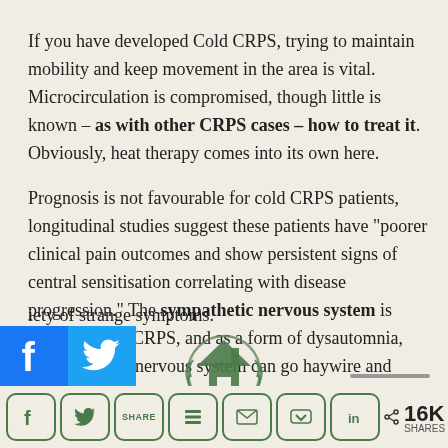If you have developed Cold CRPS, trying to maintain mobility and keep movement in the area is vital. Microcirculation is compromised, though little is known – as with other CRPS cases – how to treat it. Obviously, heat therapy comes into its own here.
Prognosis is not favourable for cold CRPS patients, longitudinal studies suggest these patients have "poorer clinical pain outcomes and show persistent signs of central sensitisation correlating with disease progression." The sympathetic nervous system is involved with CRPS, and as a form of dysautomnia, the autonomic nervous system can go haywire and cause a d...iety of strange symptoms.
[Figure (other): Social share bar with Facebook and Twitter large buttons, and row of smaller share icons (Facebook, Twitter, Share, Buffer, Email, Pocket, LinkedIn) with 16K SHARES count]